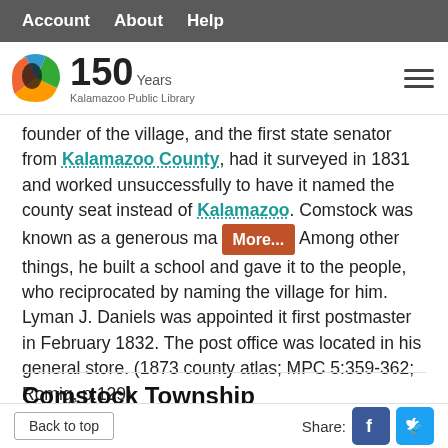Account  About  Help
[Figure (logo): Kalamazoo Public Library 150 Years logo with colorful circular icon]
founder of the village, and the first state senator from Kalamazoo County, had it surveyed in 1831 and worked unsuccessfully to have it named the county seat instead of Kalamazoo. Comstock was known as a generous ma... Among other things, he built a school and gave it to the people, who reciprocated by naming the village for him. Lyman J. Daniels was appointed it first postmaster in February 1832. The post office was located in his general store. (1873 county atlas; MPC 5:359-362; Romig, p.129)
Comstock Township
Originally part of Arcadia Township, it was organized in its present form by an act of the Territorial Legislature,
Back to top    Share: